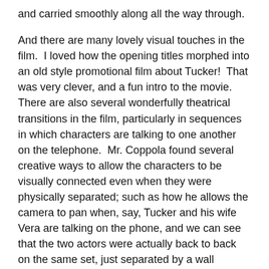and carried smoothly along all the way through.
And there are many lovely visual touches in the film.  I loved how the opening titles morphed into an old style promotional film about Tucker!  That was very clever, and a fun intro to the movie.  There are also several wonderfully theatrical transitions in the film, particularly in sequences in which characters are talking to one another on the telephone.  Mr. Coppola found several creative ways to allow the characters to be visually connected even when they were physically separated; such as how he allows the camera to pan when, say, Tucker and his wife Vera are talking on the phone, and we can see that the two actors were actually back to back on the same set, just separated by a wall between them.
For me, the only main problem was that, from start